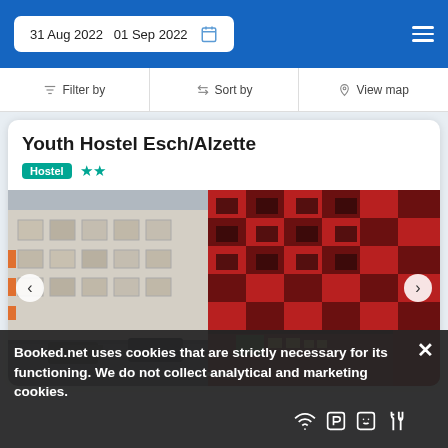31 Aug 2022   01 Sep 2022
Filter by   Sort by   View map
Youth Hostel Esch/Alzette
Hostel ★★
[Figure (photo): Aerial view of Youth Hostel Esch/Alzette, a modern red and dark grey checkered building surrounded by urban street with cars and older residential buildings]
Booked.net uses cookies that are strictly necessary for its functioning. We do not collect analytical and marketing cookies.